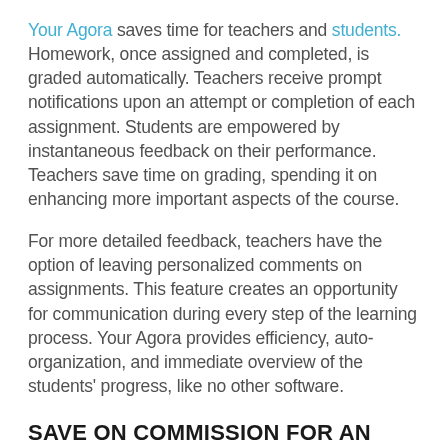Your Agora saves time for teachers and students. Homework, once assigned and completed, is graded automatically. Teachers receive prompt notifications upon an attempt or completion of each assignment. Students are empowered by instantaneous feedback on their performance. Teachers save time on grading, spending it on enhancing more important aspects of the course.
For more detailed feedback, teachers have the option of leaving personalized comments on assignments. This feature creates an opportunity for communication during every step of the learning process. Your Agora provides efficiency, auto-organization, and immediate overview of the students' progress, like no other software.
SAVE ON COMMISSION FOR AN ONLINE